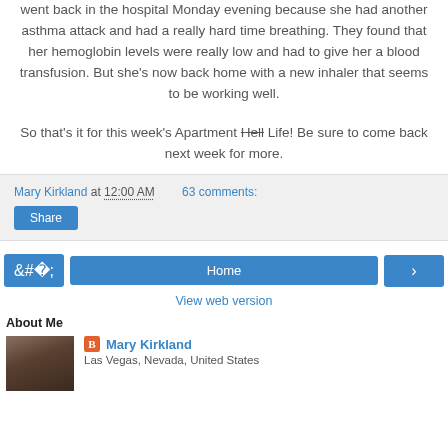went back in the hospital Monday evening because she had another asthma attack and had a really hard time breathing. They found that her hemoglobin levels were really low and had to give her a blood transfusion. But she's now back home with a new inhaler that seems to be working well.
So that's it for this week's Apartment Hell Life! Be sure to come back next week for more.
Mary Kirkland at 12:00 AM   63 comments:
Share
< Home >
View web version
About Me
Mary Kirkland
Las Vegas, Nevada, United States